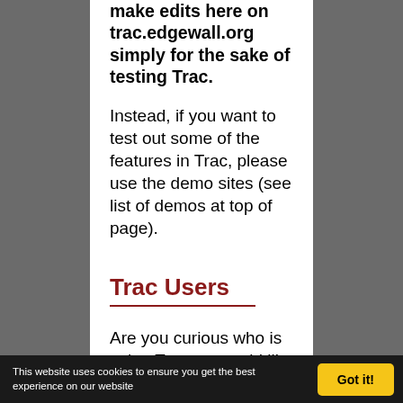make edits here on trac.edgewall.org simply for the sake of testing Trac.
Instead, if you want to test out some of the features in Trac, please use the demo sites (see list of demos at top of page).
Trac Users
Are you curious who is using Trac, or would like to
This website uses cookies to ensure you get the best experience on our website